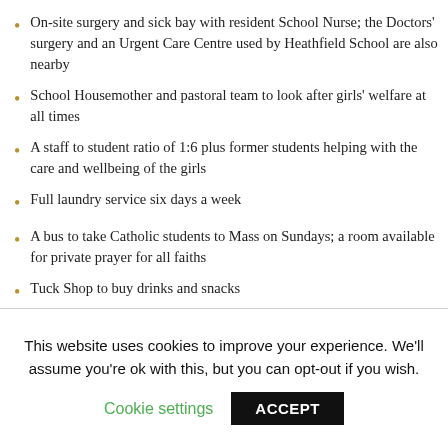On-site surgery and sick bay with resident School Nurse; the Doctors' surgery and an Urgent Care Centre used by Heathfield School are also nearby
School Housemother and pastoral team to look after girls' welfare at all times
A staff to student ratio of 1:6 plus former students helping with the care and wellbeing of the girls
Full laundry service six days a week
A bus to take Catholic students to Mass on Sundays; a room available for private prayer for all faiths
Tuck Shop to buy drinks and snacks
Full responsibility for the student while she is on the course
This website uses cookies to improve your experience. We'll assume you're ok with this, but you can opt-out if you wish.
Cookie settings | ACCEPT